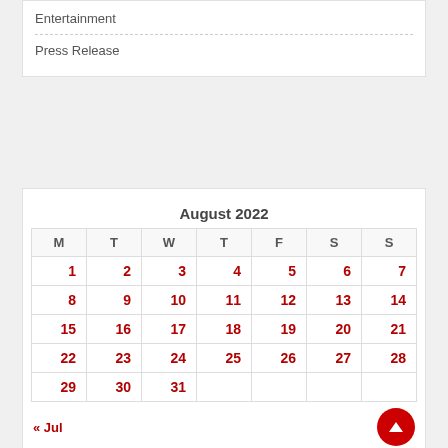Entertainment
Press Release
| M | T | W | T | F | S | S |
| --- | --- | --- | --- | --- | --- | --- |
| 1 | 2 | 3 | 4 | 5 | 6 | 7 |
| 8 | 9 | 10 | 11 | 12 | 13 | 14 |
| 15 | 16 | 17 | 18 | 19 | 20 | 21 |
| 22 | 23 | 24 | 25 | 26 | 27 | 28 |
| 29 | 30 | 31 |  |  |  |  |
« Jul